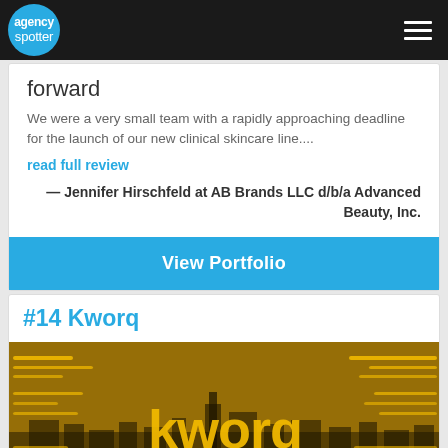agency spotter
forward
We were a very small team with a rapidly approaching deadline for the launch of our new clinical skincare line....
read full review
— Jennifer Hirschfeld at AB Brands LLC d/b/a Advanced Beauty, Inc.
View Portfolio
#14 Kworq
[Figure (photo): Kworq branded image showing city skyline with golden/amber overlay and the word 'kworq' in large yellow text with horizontal line design elements]